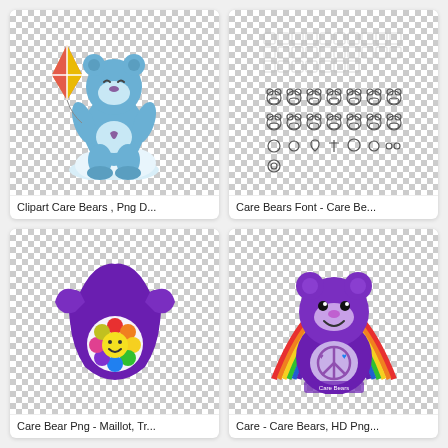[Figure (illustration): Blue Care Bear cartoon character holding a colorful kite, sitting on clouds, with checkerboard transparent background]
Clipart Care Bears , Png D...
[Figure (illustration): Care Bears font sheet showing outline bear character icons in rows on checkerboard transparent background, with small squares above]
Care Bears Font - Care Be...
[Figure (photo): Purple Care Bears leotard/swimsuit with rainbow flower and smiley face emblem, on checkerboard transparent background]
Care Bear Png - Maillot, Tr...
[Figure (photo): Purple Care Bears plush toy with peace sign belly badge, rainbow in background, on checkerboard transparent background, Care Bears branded packaging]
Care - Care Bears, HD Png...